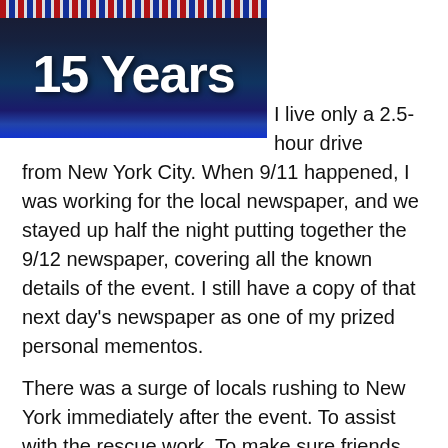[Figure (photo): Dark night scene image with bold white text '15 Years' overlaid, decorative banner at top with red, white and blue stripes]
I live only a 2.5-hour drive from New York City. When 9/11 happened, I was working for the local newspaper, and we stayed up half the night putting together the 9/12 newspaper, covering all the known details of the event. I still have a copy of that next day's newspaper as one of my prized personal mementos.
There was a surge of locals rushing to New York immediately after the event. To assist with the rescue work. To make sure friends and relatives were okay. To just go and look at the site.
But I stayed away. One, there was nothing useful I could do, and Two, you just DON'T go playing disaster-tourist in cases like this, getting in the way of all the different kinds of...